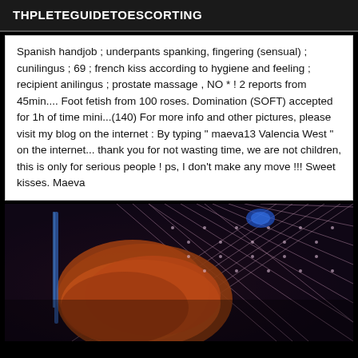THPLETEGUIDETOESCORTING
Spanish handjob ; underpants spanking, fingering (sensual) ; cunilingus ; 69 ; french kiss according to hygiene and feeling ; recipient anilingus ; prostate massage , NO * ! 2 reports from 45min.... Foot fetish from 100 roses. Domination (SOFT) accepted for 1h of time mini...(140) For more info and other pictures, please visit my blog on the internet : By typing " maeva13 Valencia West " on the internet... thank you for not wasting time, we are not children, this is only for serious people ! ps, I don't make any move !!! Sweet kisses. Maeva
[Figure (photo): Close-up photo of a person with reddish-orange hair against a decorative net/mesh background with blue and pink accents, dimly lit with dark background.]